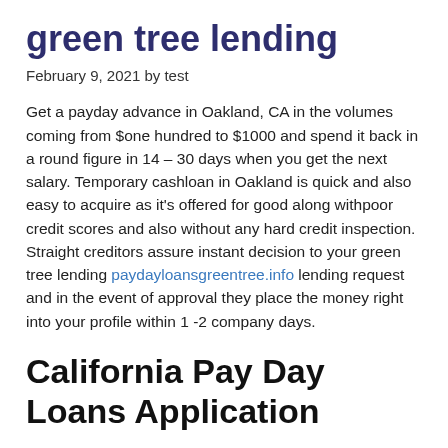green tree lending
February 9, 2021 by test
Get a payday advance in Oakland, CA in the volumes coming from $one hundred to $1000 and spend it back in a round figure in 14 – 30 days when you get the next salary. Temporary cashloan in Oakland is quick and also easy to acquire as it's offered for good along withpoor credit scores and also without any hard credit inspection. Straight creditors assure instant decision to your green tree lending paydayloansgreentree.info lending request and in the event of approval they place the money right into your profile within 1 -2 company days.
California Pay Day Loans Application